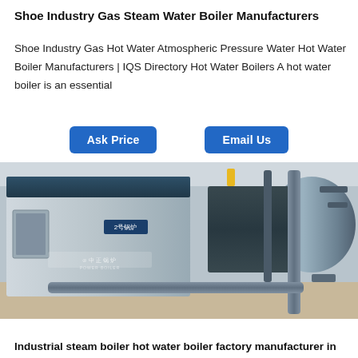Shoe Industry Gas Steam Water Boiler Manufacturers
Shoe Industry Gas Hot Water Atmospheric Pressure Water Hot Water Boiler Manufacturers | IQS Directory Hot Water Boilers A hot water boiler is an essential
[Figure (other): Two blue/grey industrial gas steam boiler units in a factory setting, with Chinese text label '2号锅炉' (Boiler No.2) and brand logo on the front panel. Pipes and mechanical components visible.]
Industrial steam boiler hot water boiler factory manufacturer in